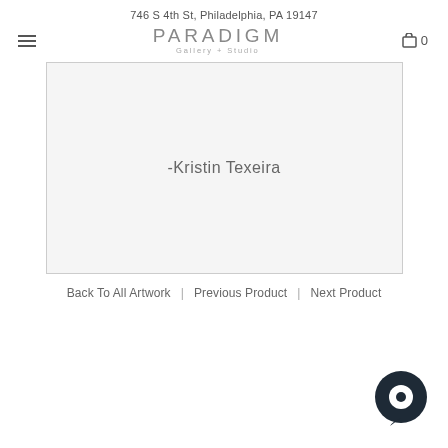746 S 4th St, Philadelphia, PA 19147
PARADIGM Gallery + Studio
[Figure (photo): Large image area with text '-Kristin Texeira' centered inside a light gray bordered rectangle]
Back To All Artwork | Previous Product | Next Product
[Figure (illustration): Dark circular chat bubble icon in the bottom right corner]